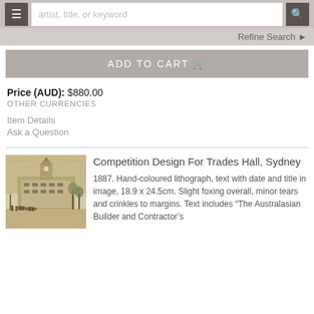artist, title, or keyword [search bar with hamburger menu and search button]
Refine Search
ADD TO CART
Price (AUD): $880.00
OTHER CURRENCIES
Item Details
Ask a Question
[Figure (photo): Sepia-toned lithograph of a large Victorian-era building (Trades Hall, Sydney), with a clock tower, horses and people in the foreground.]
Competition Design For Trades Hall, Sydney
1887. Hand-coloured lithograph, text with date and title in image, 18.9 x 24.5cm. Slight foxing overall, minor tears and crinkles to margins. Text includes “The Australasian Builder and Contractor’s